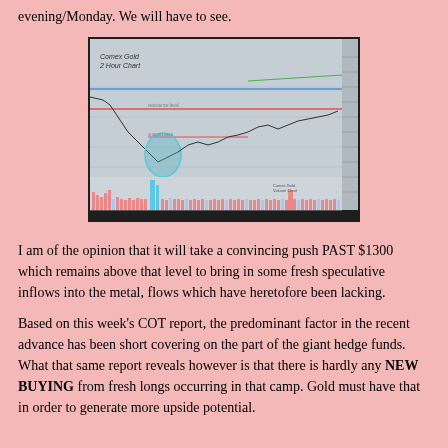evening/Monday. We will have to see.
[Figure (screenshot): Comex Gold 2 Hour Chart screenshot showing price action with horizontal resistance/support lines (blue and red), a highlighted area in blue/teal around a low point, volume bars at the bottom in pink/blue, and a price scale on the right side.]
I am of the opinion that it will take a convincing push PAST $1300 which remains above that level to bring in some fresh speculative inflows into the metal, flows which have heretofore been lacking.
Based on this week's COT report, the predominant factor in the recent advance has been short covering on the part of the giant hedge funds. What that same report reveals however is that there is hardly any NEW BUYING from fresh longs occurring in that camp. Gold must have that in order to generate more upside potential.